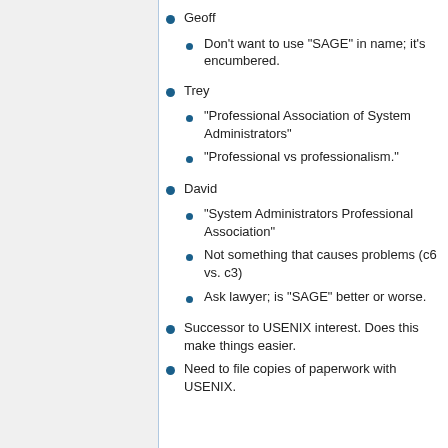Geoff
Don't want to use "SAGE" in name; it's encumbered.
Trey
"Professional Association of System Administrators"
"Professional vs professionalism."
David
"System Administrators Professional Association"
Not something that causes problems (c6 vs. c3)
Ask lawyer; is "SAGE" better or worse.
Successor to USENIX interest. Does this make things easier.
Need to file copies of paperwork with USENIX.